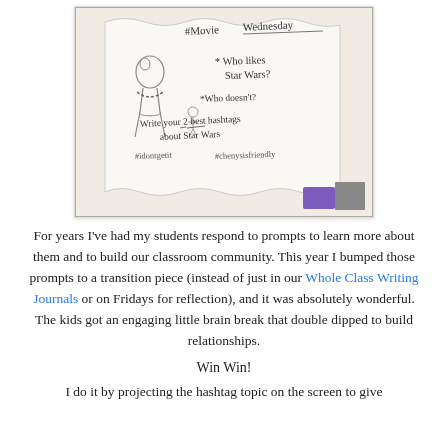[Figure (photo): Photo of a classroom whiteboard with handwritten Star Wars writing prompt. Text on board reads: '#Movie Wednesday', a drawing of Chewbacca, '# Who likes Star Wars?', '# Who doesn't?', 'Write your 2 best hashtags about Star Wars', '#idontgetit #chenysisfriendly']
For years I've had my students respond to prompts to learn more about them and to build our classroom community. This year I bumped those prompts to a transition piece (instead of just in our Whole Class Writing Journals or on Fridays for reflection), and it was absolutely wonderful. The kids got an engaging little brain break that double dipped to build relationships.
Win Win!
I do it by projecting the hashtag topic on the screen to give...